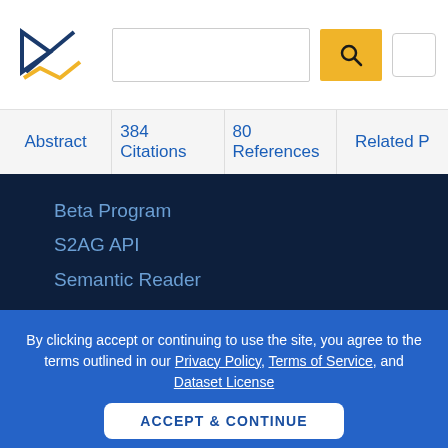Semantic Scholar header with logo, search bar, and search button
Abstract | 384 Citations | 80 References | Related P
Beta Program
S2AG API
Semantic Reader
Research
Team
By clicking accept or continuing to use the site, you agree to the terms outlined in our Privacy Policy, Terms of Service, and Dataset License
ACCEPT & CONTINUE